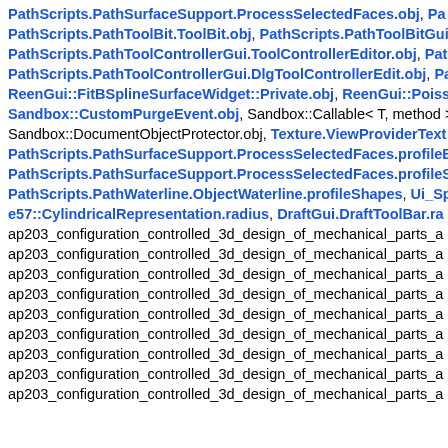PathScripts.PathSurfaceSupport.ProcessSelectedFaces.obj, PathScripts.PathToolBit.ToolBit.obj, PathScripts.PathToolBitGui..., PathScripts.PathToolControllerGui.ToolControllerEditor.obj, Pat..., PathScripts.PathToolControllerGui.DlgToolControllerEdit.obj, Pa..., ReenGui::FitBSplineSurfaceWidget::Private.obj, ReenGui::Poiss..., Sandbox::CustomPurgeEvent.obj, Sandbox::Callable< T, method >..., Sandbox::DocumentObjectProtector.obj, Texture.ViewProviderText..., PathScripts.PathSurfaceSupport.ProcessSelectedFaces.profileB..., PathScripts.PathSurfaceSupport.ProcessSelectedFaces.profileS..., PathScripts.PathWaterline.ObjectWaterline.profileShapes, Ui_Sp..., e57::CylindricalRepresentation.radius, DraftGui.DraftToolBar.ra..., ap203_configuration_controlled_3d_design_of_mechanical_parts_a...(x9)